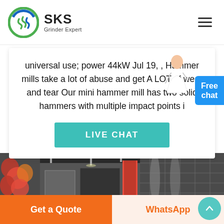SKS Grinder Expert
universal use; power 44kW Jul 19, , Hammer mills take a lot of abuse and get A LOT of wear and tear Our mini hammer mill has two solid hammers with multiple impact points i
LIVE CHAT
[Figure (photo): Interior of industrial factory/warehouse with red plants on the left wall, machinery in the center, and storage racks on the right]
Get a Quote
WhatsApp